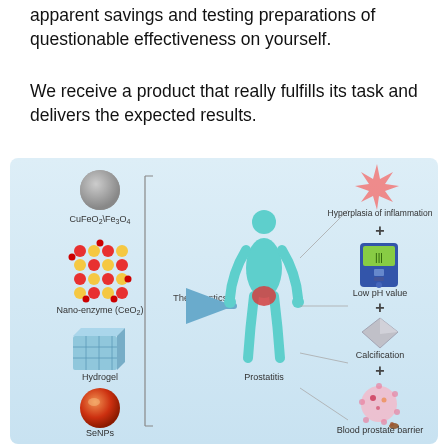apparent savings and testing preparations of questionable effectiveness on yourself.
We receive a product that really fulfills its task and delivers the expected results.
[Figure (infographic): Medical infographic showing theranostics concept. Left side lists components: CuFeO2\Fe3O4 (grey sphere), Nano-enzyme (CeO2) (red lattice pattern), Hydrogel (blue cube), SeNPs (orange sphere). Center shows human body silhouette with prostatitis highlighted. Arrow labeled 'Theranostics' points from components to body. Right side shows disease markers: Hyperplasia of inflammation, Low pH value, Calcification, Blood prostate barrier, connected by plus signs. Background is light blue gradient.]